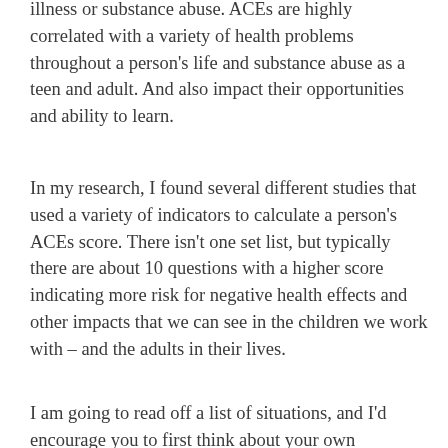illness or substance abuse. ACEs are highly correlated with a variety of health problems throughout a person's life and substance abuse as a teen and adult. And also impact their opportunities and ability to learn.
In my research, I found several different studies that used a variety of indicators to calculate a person's ACEs score. There isn't one set list, but typically there are about 10 questions with a higher score indicating more risk for negative health effects and other impacts that we can see in the children we work with – and the adults in their lives.
I am going to read off a list of situations, and I'd encourage you to first think about your own